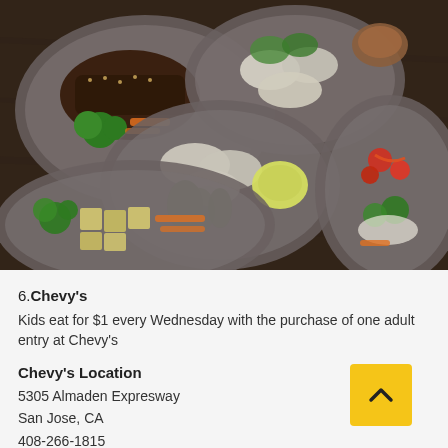[Figure (photo): Overhead photo of multiple gray food trays/containers filled with various Asian dishes including spring rolls, salads with broccoli, tofu cubes, fresh herbs, vegetables, and sauces arranged on a dark wooden surface.]
6. Chevy's
Kids eat for $1 every Wednesday with the purchase of one adult entry at Chevy's
Chevy's Location
5305 Almaden Expresway
San Jose, CA
408-266-1815